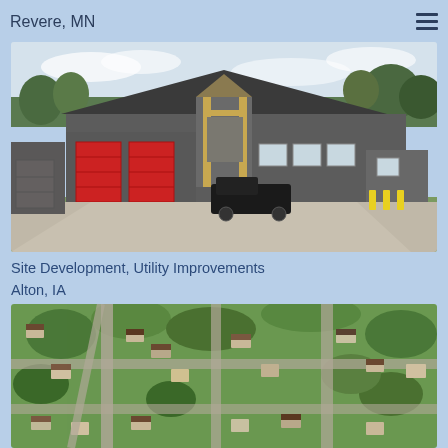Revere, MN
[Figure (photo): Exterior photo of a fire station building with gray siding, red garage doors, and a timber frame entrance feature. A black pickup truck is parked in front. Yellow bollards are visible on the right side.]
Site Development, Utility Improvements
Alton, IA
[Figure (photo): Aerial photograph of a residential neighborhood with tree-lined streets and houses, showing a suburban community from above.]